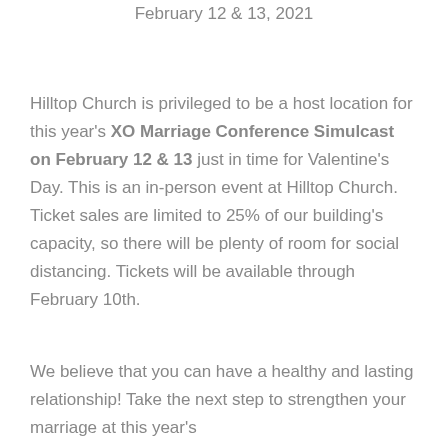February 12 & 13, 2021
Hilltop Church is privileged to be a host location for this year's XO Marriage Conference Simulcast on February 12 & 13 just in time for Valentine's Day. This is an in-person event at Hilltop Church. Ticket sales are limited to 25% of our building's capacity, so there will be plenty of room for social distancing. Tickets will be available through February 10th.
We believe that you can have a healthy and lasting relationship! Take the next step to strengthen your marriage at this year's